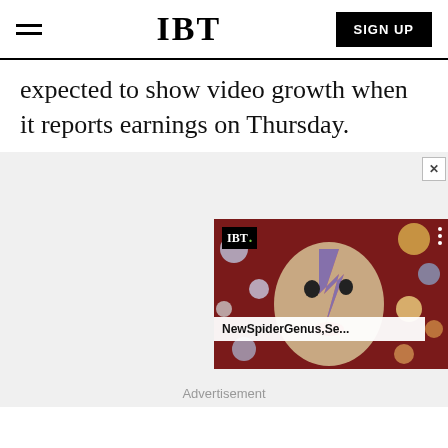IBT
expected to show video growth when it reports earnings on Thursday.
[Figure (screenshot): IBT video thumbnail showing a colorful face with lightning bolt makeup (David Bowie style) surrounded by planet/sphere decorations, with title 'NewSpiderGenus,Se...' overlay and IBT logo. A close button (X) is in the top right corner.]
Advertisement